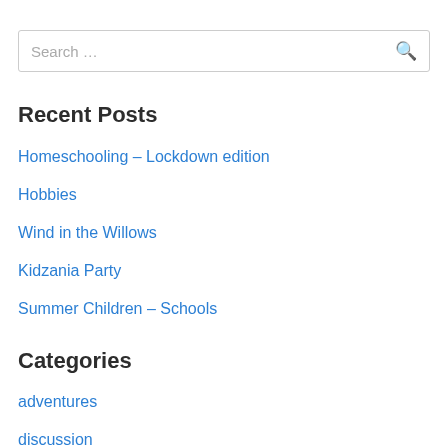Search …
Recent Posts
Homeschooling – Lockdown edition
Hobbies
Wind in the Willows
Kidzania Party
Summer Children – Schools
Categories
adventures
discussion